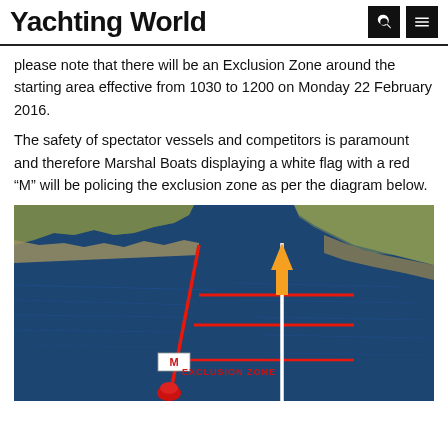Yachting World
please note that there will be an Exclusion Zone around the starting area effective from 1030 to 1200 on Monday 22 February 2016.
The safety of spectator vessels and competitors is paramount and therefore Marshal Boats displaying a white flag with a red "M" will be policing the exclusion zone as per the diagram below.
[Figure (map): Aerial/satellite map diagram showing an exclusion zone near a coastline with red boundary lines, a white vertical line, an orange arrow marker, a red buoy marker, and an 'M' flag label. Text reads 'EXCLUSION ZONE'.]